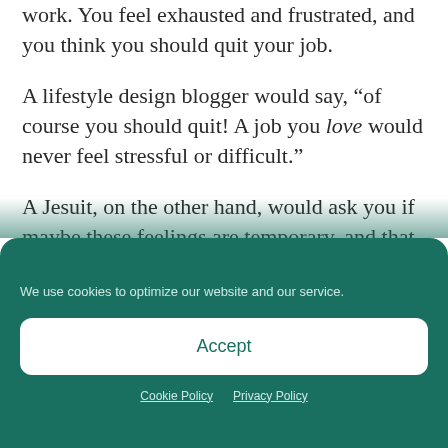work. You feel exhausted and frustrated, and you think you should quit your job.
A lifestyle design blogger would say, “of course you should quit! A job you love would never feel stressful or difficult.”
A Jesuit, on the other hand, would ask you if maybe these feelings are temporary, and that if the project is a good one, maybe it’s worth completing. It asks you to consider that maybe the “bad angel” is trying to trick you into abandoning a worthwhile
We use cookies to optimize our website and our service.
Accept
Cookie Policy   Privacy Policy